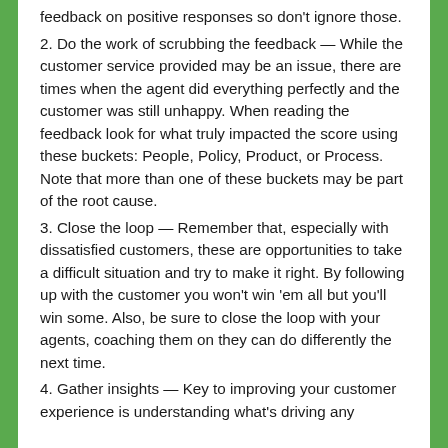feedback on positive responses so don't ignore those.
2. Do the work of scrubbing the feedback — While the customer service provided may be an issue, there are times when the agent did everything perfectly and the customer was still unhappy. When reading the feedback look for what truly impacted the score using these buckets: People, Policy, Product, or Process. Note that more than one of these buckets may be part of the root cause.
3. Close the loop — Remember that, especially with dissatisfied customers, these are opportunities to take a difficult situation and try to make it right. By following up with the customer you won't win 'em all but you'll win some. Also, be sure to close the loop with your agents, coaching them on they can do differently the next time.
4. Gather insights — Key to improving your customer experience is understanding what's driving any